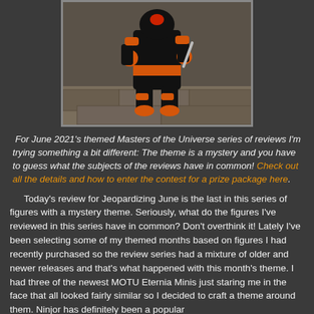[Figure (photo): A toy action figure of a black and orange character (Ninjor from Masters of the Universe) posed against a stone background.]
For June 2021's themed Masters of the Universe series of reviews I'm trying something a bit different: The theme is a mystery and you have to guess what the subjects of the reviews have in common! Check out all the details and how to enter the contest for a prize package here.
Today's review for Jeopardizing June is the last in this series of figures with a mystery theme. Seriously, what do the figures I've reviewed in this series have in common? Don't overthink it! Lately I've been selecting some of my themed months based on figures I had recently purchased so the review series had a mixture of older and newer releases and that's what happened with this month's theme. I had three of the newest MOTU Eternia Minis just staring me in the face that all looked fairly similar so I decided to craft a theme around them. Ninjor has definitely been a popular